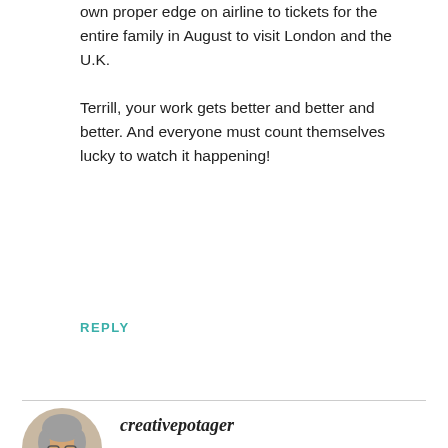own proper edge on airline to tickets for the entire family in August to visit London and the U.K.

Terrill, your work gets better and better and better. And everyone must count themselves lucky to watch it happening!
REPLY
creativepotager
MAY 16, 2013 AT 8:09 PM
Sam what an adventure – London and the U.K. In August. Wow! How exciting